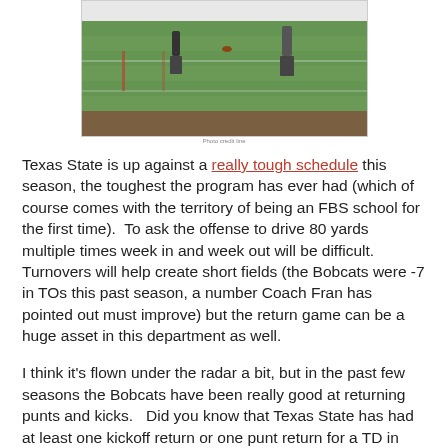[Figure (photo): Football players on a field during a Texas State game, viewed from the side. The field is green with red markings visible.]
Texas State is up against a really tough schedule this season, the toughest the program has ever had (which of course comes with the territory of being an FBS school for the first time).  To ask the offense to drive 80 yards multiple times week in and week out will be difficult.  Turnovers will help create short fields (the Bobcats were -7 in TOs this past season, a number Coach Fran has pointed out must improve) but the return game can be a huge asset in this department as well.
I think it's flown under the radar a bit, but in the past few seasons the Bobcats have been really good at returning punts and kicks.   Did you know that Texas State has had at least one kickoff return or one punt return for a TD in each of the past four seasons?   From Karrington Bush to DaMarcus Griggs and last year Isaiah Battle and Andy Erickson the Cats have had some nice return results.